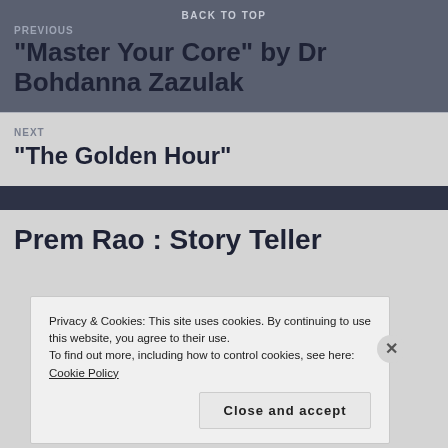BACK TO TOP
PREVIOUS
“Master Your Core” by Dr Bohdanna Zazulak
NEXT
“The Golden Hour”
Prem Rao : Story Teller
Privacy & Cookies: This site uses cookies. By continuing to use this website, you agree to their use.
To find out more, including how to control cookies, see here: Cookie Policy
Close and accept